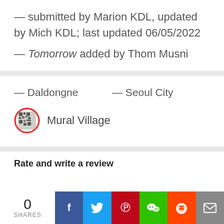— submitted by Marion KDL, updated by Mich KDL; last updated 06/05/2022
— Tomorrow added by Thom Musni
— Daldongne
— Seoul City
Mural Village
Rate and write a review
0 SHARES